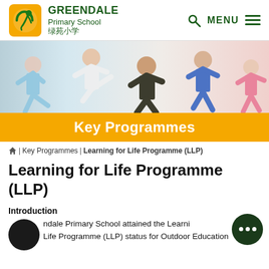GREENDALE Primary School 绿苑小学
[Figure (photo): Children in martial arts costumes performing wushu/kung fu poses against a white background]
Key Programmes
🏠 | Key Programmes | Learning for Life Programme (LLP)
Learning for Life Programme (LLP)
Introduction
ndale Primary School attained the Learning for Life Programme (LLP) status for Outdoor Education